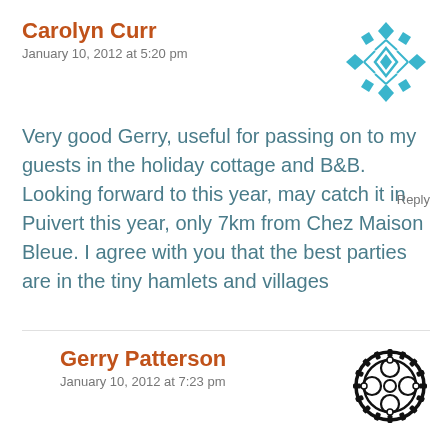Carolyn Curr
January 10, 2012 at 5:20 pm
[Figure (illustration): Decorative blue geometric snowflake/diamond pattern avatar icon]
Very good Gerry, useful for passing on to my guests in the holiday cottage and B&B. Looking forward to this year, may catch it in Puivert this year, only 7km from Chez Maison Bleue. I agree with you that the best parties are in the tiny hamlets and villages
Reply
Gerry Patterson
January 10, 2012 at 7:23 pm
[Figure (illustration): Black bicycle chain ring / gear sprocket avatar icon]
Thanks, Carolyn. You